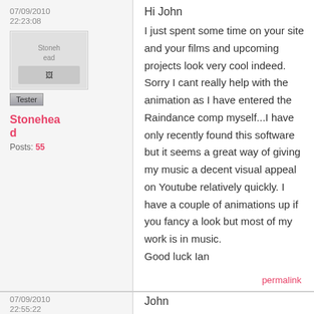07/09/2010
22:23:08
[Figure (illustration): Avatar image placeholder labeled Stonehead]
Tester
Stonehead
Posts: 55
Hi John
I just spent some time on your site and your films and upcoming projects look very cool indeed. Sorry I cant really help with the animation as I have entered the Raindance comp myself...I have only recently found this software but it seems a great way of giving my music a decent visual appeal on Youtube relatively quickly. I have a couple of animations up if you fancy a look but most of my work is in music.
Good luck Ian
permalink
07/09/2010
22:55:22
John
I too am doing my own animation for the competition but it is worth you knowing that there is no way of using Muvizu to amimate objects at